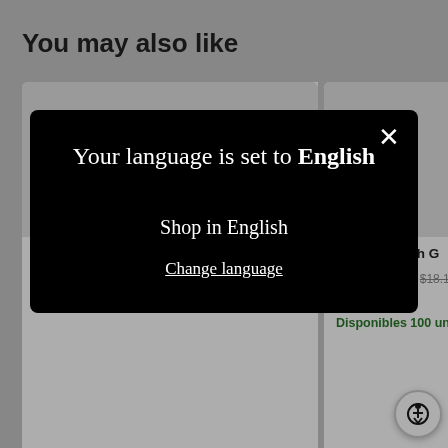You may also like
The Horse Ukrainian Glass Egg Ornament
$21.96 USD  $27.45 USD
★★★★★ 1 review
Willow Branch Glass ...
$14.52 USD  $18.15
Disponibles 100 un...
[Figure (screenshot): Modal dialog on e-commerce website with black background showing language selection. Text reads: 'Your language is set to English', with options 'Shop in English' and 'Change language', plus a close X button in top right.]